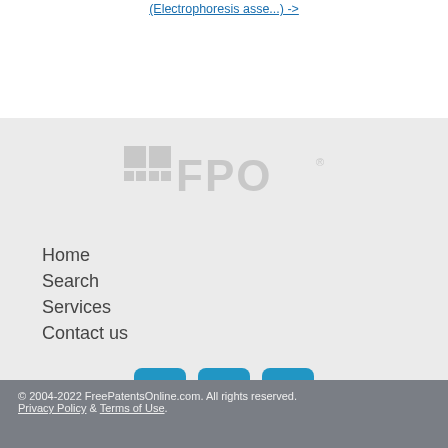(Electrophoresis asse...) ->
[Figure (logo): FPO logo watermark in light gray]
Home
Search
Services
Contact us
[Figure (infographic): Social media icons: Twitter (t), LinkedIn (in), Email (envelope)]
© 2004-2022 FreePatentsOnline.com. All rights reserved. Privacy Policy & Terms of Use.